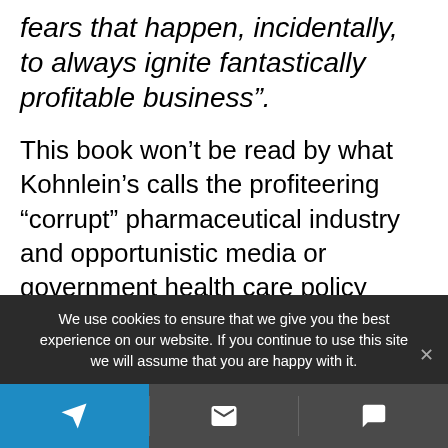fears that happen, incidentally, to always ignite fantastically profitable business”.
This book won’t be read by what Kohnlein’s calls the profiteering “corrupt” pharmaceutical industry and opportunistic media or government health care policy makers. But perhaps citizens who have been swept up in the panic can be better informed about the bigger picture of the Coronavirus Panic. Perhaps what hospitals should focus on is influenza and dormant
We use cookies to ensure that we give you the best experience on our website. If you continue to use this site we will assume that you are happy with it.